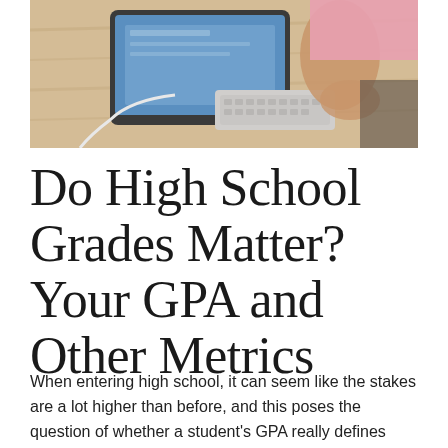[Figure (photo): A person sitting at a wooden desk using an Apple iMac computer with a keyboard, viewed from above/side angle. The person appears to be a student working at a computer.]
Do High School Grades Matter? Your GPA and Other Metrics
When entering high school, it can seem like the stakes are a lot higher than before, and this poses the question of whether a student's GPA really defines them or if other factors come into play.